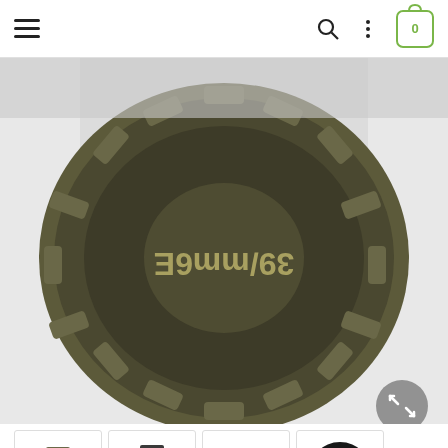Navigation bar with hamburger menu, search, more options, and cart (0)
[Figure (photo): Close-up photo of a Cannondale Lefty Ocho 39mm 18 Point Damper Tool showing the circular tool with splined edges and text '39/mm6E' on a dark olive/bronze finish, viewed from above on a light gray background. An expand/fullscreen button (gray circle with arrows) is visible at bottom right.]
[Figure (photo): Four thumbnail images of the Cannondale Lefty Ocho Damper Tool showing different angles: side view with splines, angled view of splined socket, top view showing 'cannondale' branding, and top view showing square drive hole.]
Cannondale Lefty Ocho 39mm 18 Point Damper Tool CK9108U00OS
SKU: 713720
$59.00
Shares: